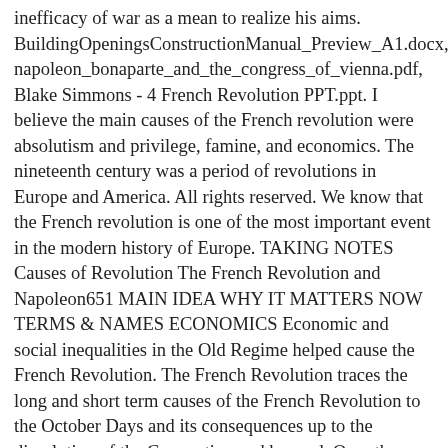inefficacy of war as a mean to realize his aims. BuildingOpeningsConstructionManual_Preview_A1.docx, napoleon_bonaparte_and_the_congress_of_vienna.pdf, Blake Simmons - 4 French Revolution PPT.ppt. I believe the main causes of the French revolution were absolutism and privilege, famine, and economics. The nineteenth century was a period of revolutions in Europe and America. All rights reserved. We know that the French revolution is one of the most important event in the modern history of Europe. TAKING NOTES Causes of Revolution The French Revolution and Napoleon651 MAIN IDEA WHY IT MATTERS NOW TERMS & NAMES ECONOMICS Economic and social inequalities in the Old Regime helped cause the French Revolution. The French Revolution traces the long and short term causes of the French Revolution to the October Days and its consequences up to the dissolution of the Convention and beyond. Over the course of the 18th century, France experienced the unfolding of pathetically sad developments and unprecedented public